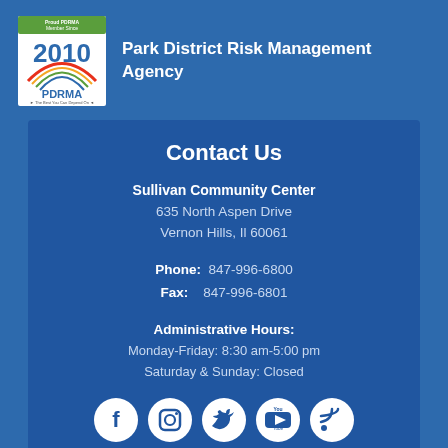[Figure (logo): PDRMA Proud Member Since 2010 logo with rainbow arc]
Park District Risk Management Agency
Contact Us
Sullivan Community Center
635 North Aspen Drive
Vernon Hills, Il 60061
Phone: 847-996-6800
Fax: 847-996-6801
Administrative Hours:
Monday-Friday: 8:30 am-5:00 pm
Saturday & Sunday: Closed
[Figure (illustration): Social media icons: Facebook, Instagram, Twitter, YouTube, RSS]
©2019 Vernon Hills Park District